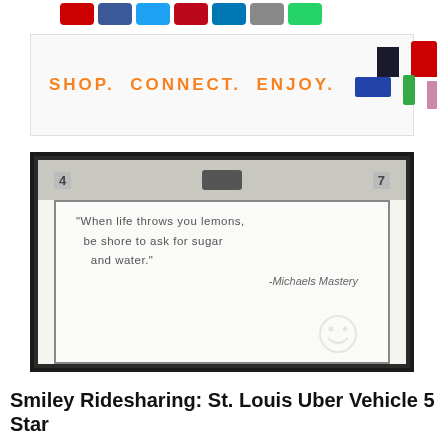[Figure (other): Social media share icons: red icon, Facebook (blue), Twitter (cyan), Pinterest (red), LinkedIn (blue), email (gray), WhatsApp (green)]
[Figure (other): Advertisement banner with orange text 'SHOP. CONNECT. ENJOY.' and product images including gaming console, stand mixer, sneakers, beverage bottle, and makeup brush on right side]
[Figure (photo): Photograph of a whiteboard with handwritten text: 'When life throws you lemons, be shore to ask for sugar and water.' attributed to -Michaels Mastery, with a smiley face drawn in bottom right corner. Ceiling and number 4 visible above whiteboard.]
Smiley Ridesharing: St. Louis Uber Vehicle 5 Star